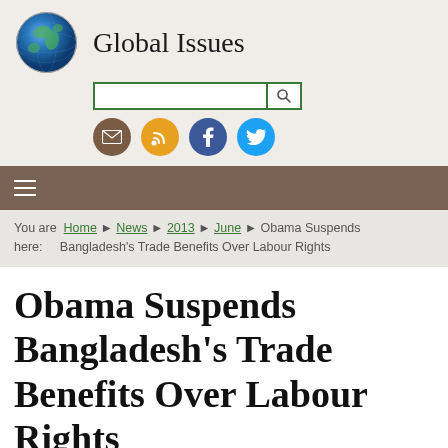Global Issues
[Figure (logo): Globe icon representing Global Issues website logo]
You are here: Home › News › 2013 › June › Obama Suspends Bangladesh's Trade Benefits Over Labour Rights
Obama Suspends Bangladesh's Trade Benefits Over Labour Rights